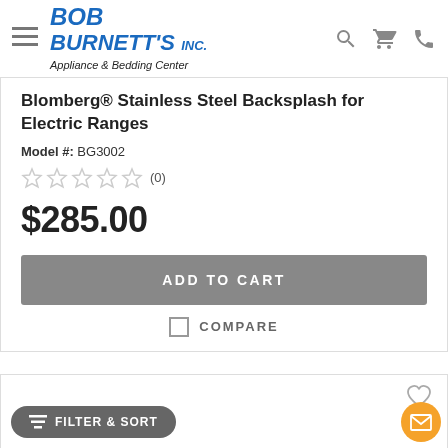Bob Burnett's Inc. Appliance & Bedding Center
Blomberg® Stainless Steel Backsplash for Electric Ranges
Model #: BG3002
★★★★★ (0)
$285.00
ADD TO CART
COMPARE